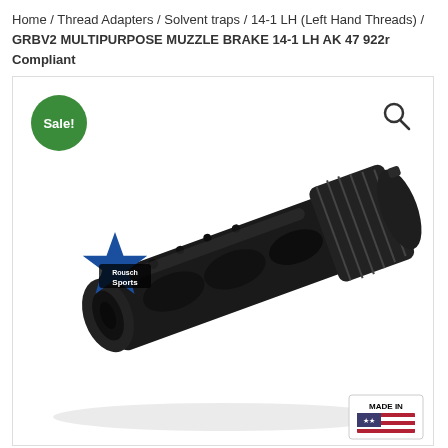Home / Thread Adapters / Solvent traps / 14-1 LH (Left Hand Threads) / GRBV2 MULTIPURPOSE MUZZLE BRAKE 14-1 LH AK 47 922r Compliant
[Figure (photo): Product photo of a black GRBV2 multipurpose muzzle brake with Rousch Sports star logo overlay, Sale badge in green circle top-left, magnifier search icon top-right, Made in USA badge bottom-right. The muzzle brake is a cylindrical black metal device with ports and threading.]